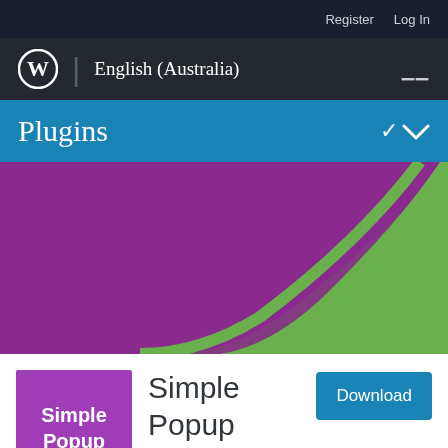Register  Log In
WordPress logo | English (Australia)  ☰
Plugins
[Figure (illustration): Purple hero banner with green curved stripe on right side]
[Figure (logo): Simple Popup plugin icon — purple square with white bold text 'Simple Popup']
Simple Popup Plugin
By Garrett Grimm
Download